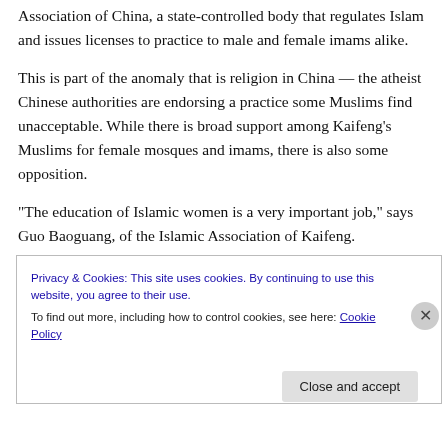Association of China, a state-controlled body that regulates Islam and issues licenses to practice to male and female imams alike.
This is part of the anomaly that is religion in China — the atheist Chinese authorities are endorsing a practice some Muslims find unacceptable. While there is broad support among Kaifeng's Muslims for female mosques and imams, there is also some opposition.
“The education of Islamic women is a very important job,” says Guo Baoguang, of the Islamic Association of Kaifeng.
Privacy & Cookies: This site uses cookies. By continuing to use this website, you agree to their use.
To find out more, including how to control cookies, see here: Cookie Policy
Close and accept